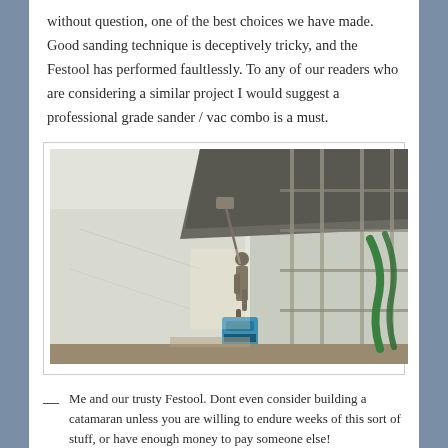without question, one of the best choices we have made. Good sanding technique is deceptively tricky, and the Festool has performed faultlessly. To any of our readers who are considering a similar project I would suggest a professional grade sander / vac combo is a must.
[Figure (photo): A person using a Festool sander/vacuum combo on the hull of a large catamaran boat in a boatyard. A blue vacuum unit sits on the ground. Green hoses hang on scaffolding to the right. The hull is large and white.]
— Me and our trusty Festool. Dont even consider building a catamaran unless you are willing to endure weeks of this sort of stuff, or have enough money to pay someone else!